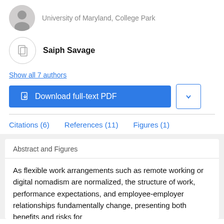University of Maryland, College Park
Saiph Savage
Show all 7 authors
Download full-text PDF
Citations (6)   References (11)   Figures (1)
Abstract and Figures
As flexible work arrangements such as remote working or digital nomadism are normalized, the structure of work, performance expectations, and employee-employer relationships fundamentally change, presenting both benefits and risks for